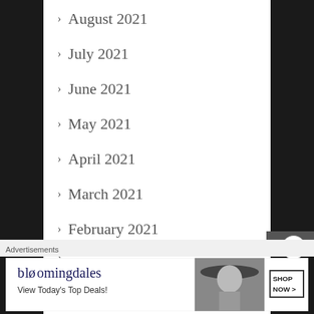> August 2021
> July 2021
> June 2021
> May 2021
> April 2021
> March 2021
> February 2021
>
Advertisements
[Figure (illustration): Bloomingdale's advertisement banner with logo, 'View Today's Top Deals!' tagline, woman in wide-brim hat photo, and 'SHOP NOW >' button]